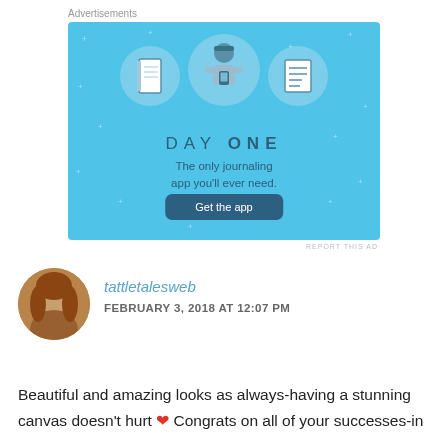Advertisements
[Figure (illustration): Day One journaling app advertisement on blue background. Shows three icons: a notebook, a person holding a phone, and a list/document. Text reads: DAY ONE – The only journaling app you'll ever need. Button: Get the app.]
REPORT THIS AD
tattletalesweb
FEBRUARY 3, 2018 AT 12:07 PM
Beautiful and amazing looks as always-having a stunning canvas doesn't hurt ❤ Congrats on all of your successes-in